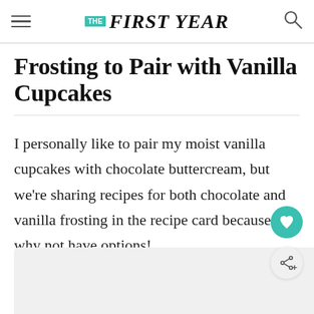THE FIRST YEAR
Frosting to Pair with Vanilla Cupcakes
I personally like to pair my moist vanilla cupcakes with chocolate buttercream, but we're sharing recipes for both chocolate and vanilla frosting in the recipe card because why not have options!